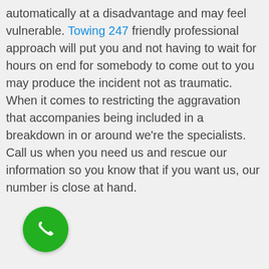automatically at a disadvantage and may feel vulnerable. Towing 247 friendly professional approach will put you and not having to wait for hours on end for somebody to come out to you may produce the incident not as traumatic.
When it comes to restricting the aggravation that accompanies being included in a breakdown in or around we're the specialists. Call us when you need us and rescue our information so you know that if you want us, our number is close at hand.
[Figure (other): Green circular phone/call button icon with white telephone handset symbol]